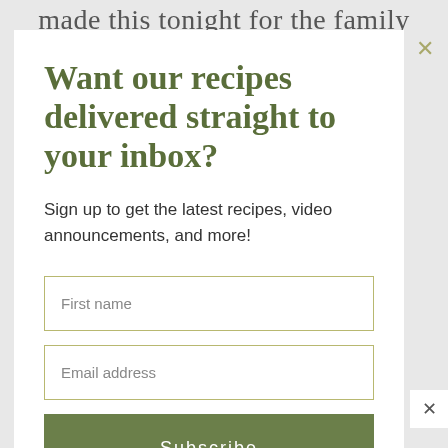made this tonight for the family
Want our recipes delivered straight to your inbox?
Sign up to get the latest recipes, video announcements, and more!
First name
Email address
Subscribe